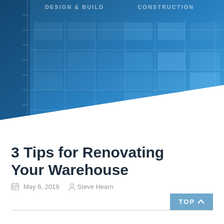DESIGN & BUILD   CONSTRUCTION
[Figure (photo): Blue building/warehouse architectural blueprint or glass facade photo used as hero banner background]
3 Tips for Renovating Your Warehouse
May 6, 2019   Steve Hearn